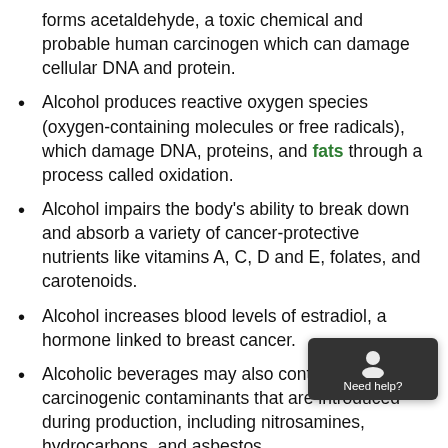forms acetaldehyde, a toxic chemical and probable human carcinogen which can damage cellular DNA and protein.
Alcohol produces reactive oxygen species (oxygen-containing molecules or free radicals), which damage DNA, proteins, and fats through a process called oxidation.
Alcohol impairs the body's ability to break down and absorb a variety of cancer-protective nutrients like vitamins A, C, D and E, folates, and carotenoids.
Alcohol increases blood levels of estradiol, a hormone linked to breast cancer.
Alcoholic beverages may also contain a variety of carcinogenic contaminants that are introduced during production, including nitrosamines, hydrocarbons, and asbestos.
In smokers, alcohol creates a pathway which allows carcinogens to penetrate the mucous